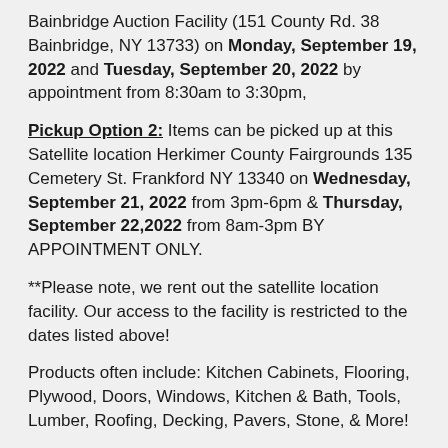Bainbridge Auction Facility (151 County Rd. 38 Bainbridge, NY 13733) on Monday, September 19, 2022 and Tuesday, September 20, 2022 by appointment from 8:30am to 3:30pm,
Pickup Option 2: Items can be picked up at this Satellite location Herkimer County Fairgrounds 135 Cemetery St. Frankford NY 13340 on Wednesday, September 21, 2022 from 3pm-6pm & Thursday, September 22,2022 from 8am-3pm BY APPOINTMENT ONLY.
**Please note, we rent out the satellite location facility. Our access to the facility is restricted to the dates listed above!
Products often include: Kitchen Cabinets, Flooring, Plywood, Doors, Windows, Kitchen & Bath, Tools, Lumber, Roofing, Decking, Pavers, Stone, & More!